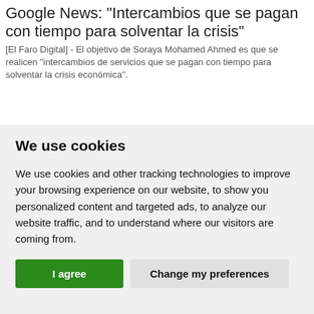Google News: "Intercambios que se pagan con tiempo para solventar la crisis"
[El Faro Digital] - El objetivo de Soraya Mohamed Ahmed es que se realicen "intercambios de servicios que se pagan con tiempo para solventar la crisis económica".
We use cookies
We use cookies and other tracking technologies to improve your browsing experience on our website, to show you personalized content and targeted ads, to analyze our website traffic, and to understand where our visitors are coming from.
I agree | Change my preferences